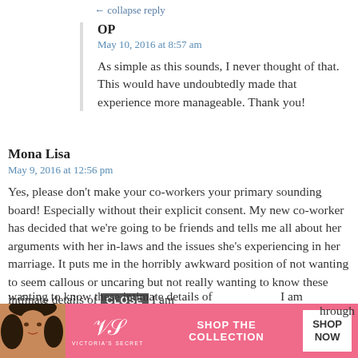← collapse reply
OP
May 10, 2016 at 8:57 am
As simple as this sounds, I never thought of that. This would have undoubtedly made that experience more manageable. Thank you!
Mona Lisa
May 9, 2016 at 12:56 pm
Yes, please don't make your co-workers your primary sounding board! Especially without their explicit consent. My new co-worker has decided that we're going to be friends and tells me all about her arguments with her in-laws and the issues she's experiencing in her marriage. It puts me in the horribly awkward position of not wanting to seem callous or uncaring but not really wanting to know these intimate details of I am [CLOSE] ...through
[Figure (advertisement): Victoria's Secret advertisement banner with a woman's photo on the left, VS logo, 'SHOP THE COLLECTION' text, and 'SHOP NOW' button on a pink background. A gray 'CLOSE' button overlays the text above.]